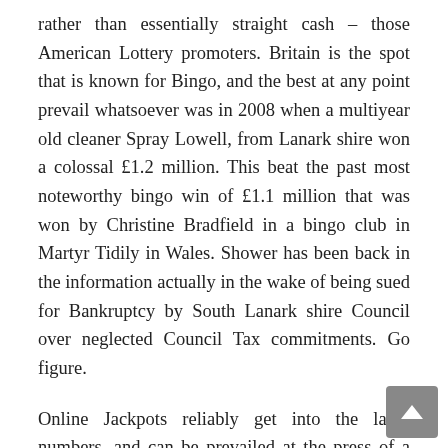rather than essentially straight cash – those American Lottery promoters. Britain is the spot that is known for Bingo, and the best at any point prevail whatsoever was in 2008 when a multiyear old cleaner Spray Lowell, from Lanark shire won a colossal £1.2 million. This beat the past most noteworthy bingo win of £1.1 million that was won by Christine Bradfield in a bingo club in Martyr Tidily in Wales. Shower has been back in the information actually in the wake of being sued for Bankruptcy by South Lanark shire Council over neglected Council Tax commitments. Go figure.
Online Jackpots reliably get into the large numbers, and can be prevailed at the press of a catch as opposed to simply one time each week. They are significantly harder to check, yet for betting club type games, but the generally recognized hotshot is an understudy from Norway who won £9.5 million on Buttons Mega Fortune game in 2009. Betting club game Mega Molar has paid out an amazing £5.3m to Georgiou M, a business